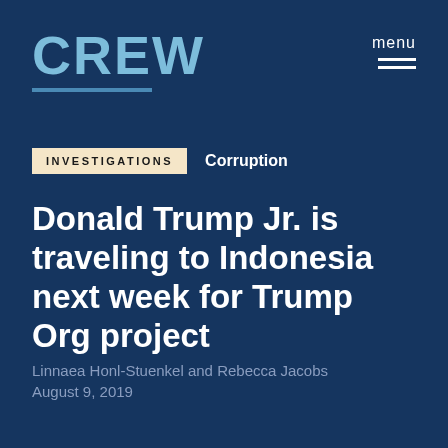[Figure (logo): CREW logo in light blue text with underline]
menu
INVESTIGATIONS   Corruption
Donald Trump Jr. is traveling to Indonesia next week for Trump Org project
Linnaea Honl-Stuenkel and Rebecca Jacobs
August 9, 2019